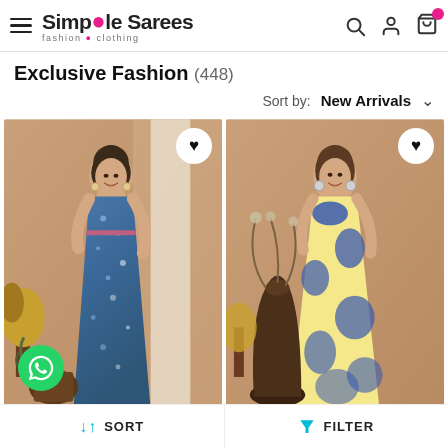Simple Sarees — fashion • clothing
Exclusive Fashion (448)
Sort by: New Arrivals
[Figure (photo): Woman wearing a blue floral printed sleeveless maxi dress with a belt, standing against a beige background with decorative plants. WhatsApp button visible at bottom left. Heart/wishlist button at top right.]
[Figure (photo): Woman wearing a yellow and blue tie-dye sleeveless maxi dress, standing against a beige background with a dark decorative vase and dried flowers. Heart/wishlist button at top right.]
SORT   FILTER